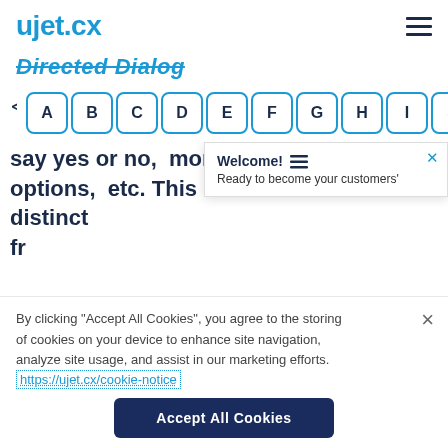ujet.cx
Directed Dialog
[Figure (screenshot): A row of letter navigation buttons A B C D E F G H I J with left and right arrow controls on either side, styled with blue rounded-rectangle borders on white background.]
say yes or no, more options, etc. This distinct fr... recognitio...
Welcome! Ready to become your customers'
By clicking "Accept All Cookies", you agree to the storing of cookies on your device to enhance site navigation, analyze site usage, and assist in our marketing efforts. https://ujet.cx/cookie-notice
Accept All Cookies